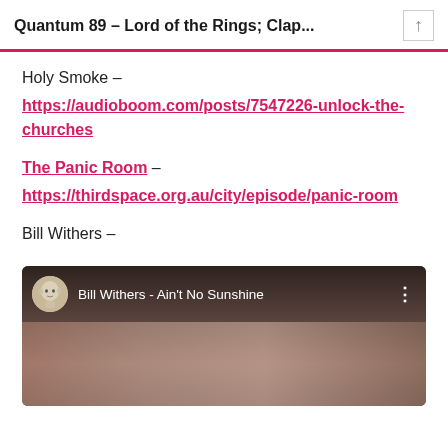Quantum 89 – Lord of the Rings; Clap...
Holy Smoke –
https://audioboom.com/posts/7547226-unlock-the-churches
The Panic Room – https://thirdspace.org.au/city/episode/panic-room
Bill Withers –
[Figure (screenshot): YouTube video thumbnail showing 'Bill Withers - Ain't No Sunshine' with a bald emoji avatar icon, video title text, and blurred background image]